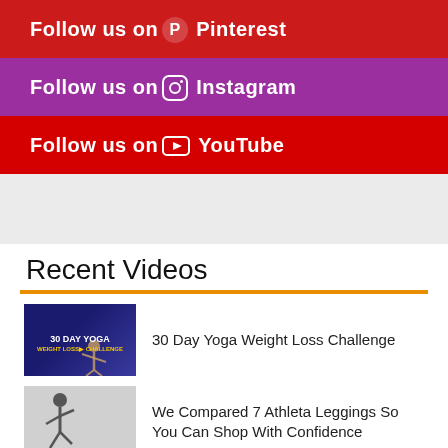Follow us on ⓟ Pinterest
Follow us on ⓘ Instagram
Follow us on ▶ YouTube
Recent Videos
[Figure (photo): Thumbnail for 30 Day Yoga Weight Loss Challenge video]
30 Day Yoga Weight Loss Challenge
[Figure (photo): Thumbnail for We Compared 7 Athleta Leggings So You Can Shop With Confidence video]
We Compared 7 Athleta Leggings So You Can Shop With Confidence
[Figure (photo): Thumbnail for WEIGHT TRAINING WOMEN OVER 50 where to video]
WEIGHT TRAINING WOMEN OVER 50 where to